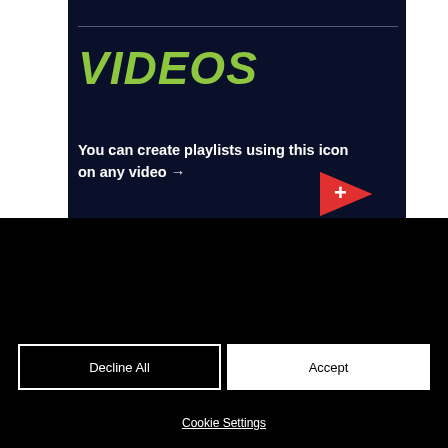[Figure (screenshot): Dark navy background section showing a VIDEOS heading in bold italic green text, with white bold text 'You can create playlists using this icon on any video →' and red play/add icons]
VIDEOS
You can create playlists using this icon on any video →
We use cookies and similar technologies to enable services and functionality on our site and to understand your interaction with our service. By clicking on accept, you agree to our use of such technologies for marketing and analytics. See Privacy Policy
Decline All
Accept
Cookie Settings